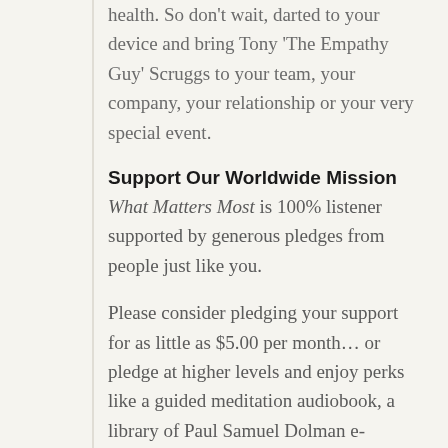health. So don't wait, darted to your device and bring Tony 'The Empathy Guy' Scruggs to your team, your company, your relationship or your very special event.
Support Our Worldwide Mission
What Matters Most is 100% listener supported by generous pledges from people just like you.
Please consider pledging your support for as little as $5.00 per month… or pledge at higher levels and enjoy perks like a guided meditation audiobook, a library of Paul Samuel Dolman e-books… and more!
Full details on how to become a patron